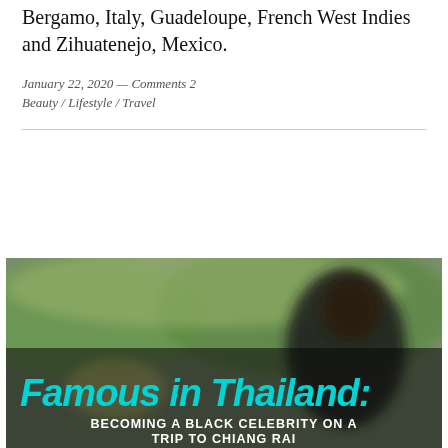Bergamo, Italy, Guadeloupe, French West Indies and Zihuatenejo, Mexico.
January 22, 2020 — Comments 2
Beauty / Lifestyle / Travel
[Figure (photo): Blurred outdoor photo with text overlay reading 'Famous in Thailand: BECOMING A BLACK CELEBRITY ON A TRIP TO CHIANG RAI' in teal/cyan handwritten-style font on a dark blurred background]